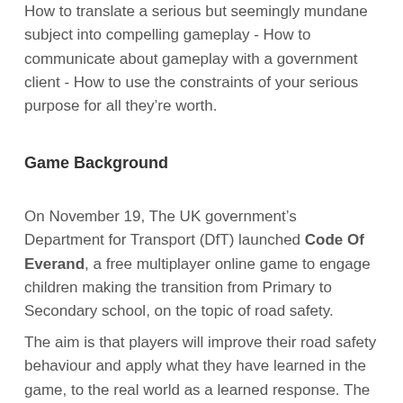How to translate a serious but seemingly mundane subject into compelling gameplay - How to communicate about gameplay with a government client - How to use the constraints of your serious purpose for all they're worth.
Game Background
On November 19, The UK government's Department for Transport (DfT) launched Code Of Everand, a free multiplayer online game to engage children making the transition from Primary to Secondary school, on the topic of road safety.
The aim is that players will improve their road safety behaviour and apply what they have learned in the game, to the real world as a learned response. The Department for Transport's aim is to reduce child pedestrian casualties and deaths among this age group by